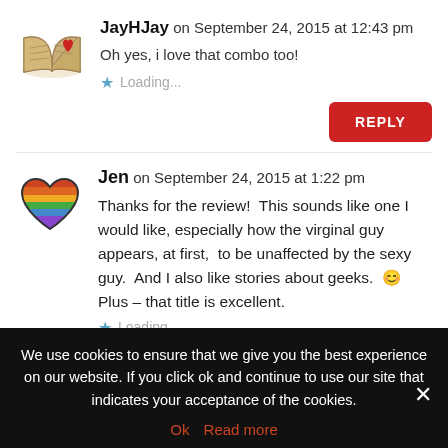JayHJay on September 24, 2015 at 12:43 pm
Oh yes, i love that combo too!
Loading...
REPLY
Jen on September 24, 2015 at 1:22 pm
Thanks for the review!  This sounds like one I would like, especially how the virginal guy appears, at first,  to be unaffected by the sexy guy.  And I also like stories about geeks.  😊  Plus – that title is excellent.
Loading...
We use cookies to ensure that we give you the best experience on our website. If you click ok and continue to use our site that indicates your acceptance of the cookies.
Ok   Read more